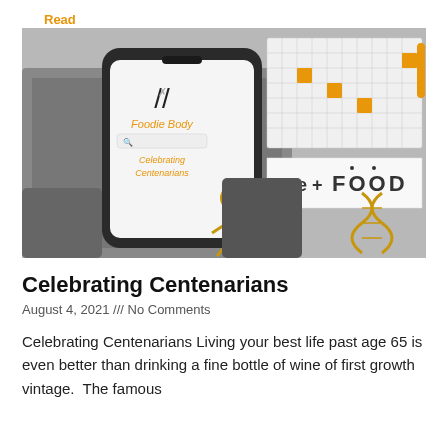Read More »
[Figure (photo): Collage image showing a hand holding a smartphone with 'Foodie Body' app open showing 'Celebrating Centenarians', overlaid with a periodic table of elements with orange highlights, a DNA helix in gold, and text reading 'Me + FOOD']
Celebrating Centenarians
August 4, 2021 /// No Comments
Celebrating Centenarians Living your best life past age 65 is even better than drinking a fine bottle of wine of first growth vintage.  The famous
Read More »